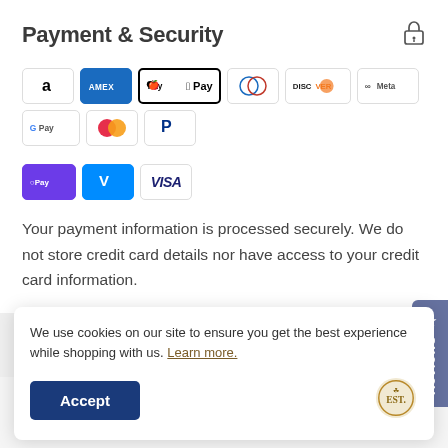Payment & Security
[Figure (logo): Payment method icons: Amazon, Amex, Apple Pay, Diners Club, Discover, Meta Pay, Google Pay, Mastercard, PayPal, OPay, Venmo, Visa]
Your payment information is processed securely. We do not store credit card details nor have access to your credit card information.
[Figure (other): Five empty star rating icons for review]
We use cookies on our site to ensure you get the best experience while shopping with us. Learn more.